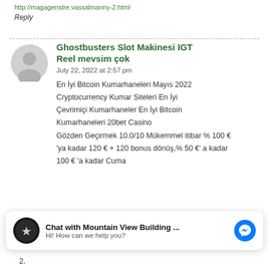http://magagenstre.vassalmanny-2.html
Reply
Ghostbusters Slot Makinesi IGT Reel mevsim çok
July 22, 2022 at 2:57 pm
En İyi Bitcoin Kumarhaneleri Mayıs 2022
Cryptocurrency Kumar Siteleri En İyi
Çevrimiçi Kumarhaneler En İyi Bitcoin
Kumarhaneleri 20bet Casino
Gözden Geçirmek 10.0/10 Mükemmel itibar % 100 €
'ya kadar 120 € + 120 bonus dönüş,% 50 €' a kadar
100 € 'a kadar Cuma
[Figure (other): Chat widget: Chat with Mountain View Building ... Hi! How can we help you?]
2.